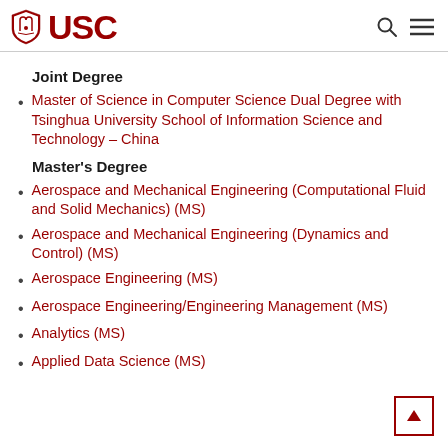USC
Joint Degree
Master of Science in Computer Science Dual Degree with Tsinghua University School of Information Science and Technology – China
Master's Degree
Aerospace and Mechanical Engineering (Computational Fluid and Solid Mechanics) (MS)
Aerospace and Mechanical Engineering (Dynamics and Control) (MS)
Aerospace Engineering (MS)
Aerospace Engineering/Engineering Management (MS)
Analytics (MS)
Applied Data Science (MS)